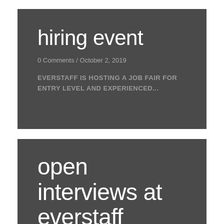hiring event
0 Comments / October 2, 2019
EVERSTAFF IS HOSTING A JOB FAIR FOR ENTRY LEVEL AND EXPERIENCED...
open interviews at everstaff fairview